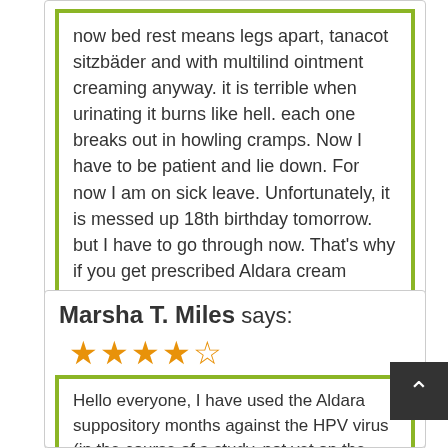now bed rest means legs apart, tanacot sitzbäder and with multilind ointment creaming anyway. it is terrible when urinating it burns like hell. each one breaks out in howling cramps. Now I have to be patient and lie down. For now I am on sick leave. Unfortunately, it is messed up 18th birthday tomorrow. but I have to go through now. That's why if you get prescribed Aldara cream against warts takes a cotton swab and wearing the ointment really thin !! on ! it hardens everything and is unbearable.
Side effects: Chills; Members hurt; Fever; Headache
Marsha T. Miles says:
[Figure (other): Star rating: 4.5 out of 5 stars (4 filled stars, 1 half star, 0 empty stars)]
Hello everyone, I have used the Aldara suppository months against the HPV virus (in the course of a study, not yet on the Austrian market). My side effects were flu like symptoms like fever, devious